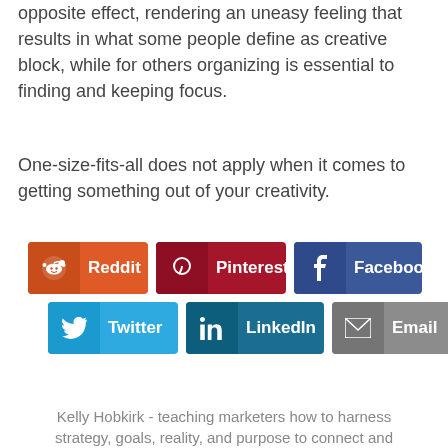opposite effect, rendering an uneasy feeling that results in what some people define as creative block, while for others organizing is essential to finding and keeping focus.
One-size-fits-all does not apply when it comes to getting something out of your creativity.
[Figure (infographic): Social share buttons: Reddit, Pinterest, Facebook (top row); Twitter, LinkedIn, Email (bottom row)]
Kelly Hobkirk - teaching marketers how to harness strategy, goals, reality, and purpose to connect and